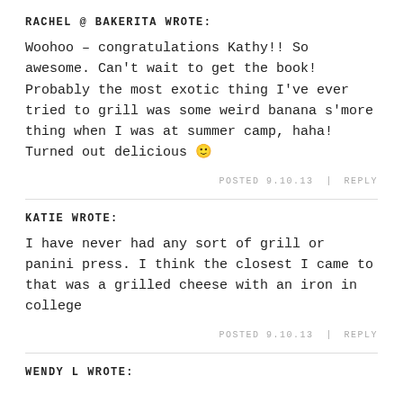RACHEL @ BAKERITA WROTE:
Woohoo – congratulations Kathy!! So awesome. Can't wait to get the book! Probably the most exotic thing I've ever tried to grill was some weird banana s'more thing when I was at summer camp, haha! Turned out delicious 🙂
POSTED 9.10.13 | REPLY
KATIE WROTE:
I have never had any sort of grill or panini press. I think the closest I came to that was a grilled cheese with an iron in college
POSTED 9.10.13 | REPLY
WENDY L WROTE: